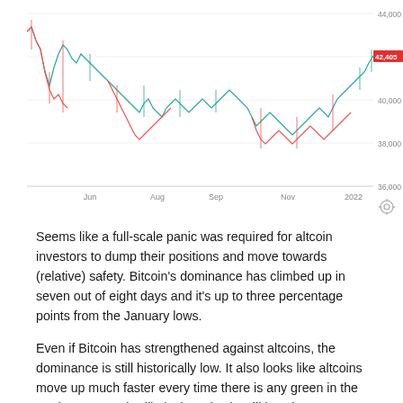[Figure (continuous-plot): Bitcoin price candlestick/line chart showing price movement from approximately June 2021 to early 2022, with y-axis values ranging from 36,000 to 44,000. A red label showing 42,405 is visible on the right side. X-axis shows months: Jun, Aug, Sep, Nov, 2022.]
Seems like a full-scale panic was required for altcoin investors to dump their positions and move towards (relative) safety. Bitcoin's dominance has climbed up in seven out of eight days and it's up to three percentage points from the January lows.
Even if Bitcoin has strengthened against altcoins, the dominance is still historically low. It also looks like altcoins move up much faster every time there is any green in the market. Hence, it's likely that Bitcoin will lose its dominance again when the market will eventually move up.